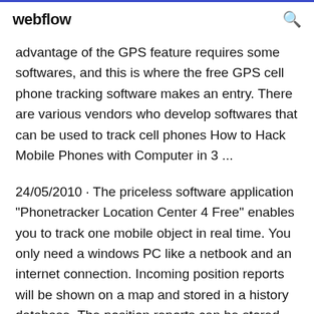webflow
advantage of the GPS feature requires some softwares, and this is where the free GPS cell phone tracking software makes an entry. There are various vendors who develop softwares that can be used to track cell phones How to Hack Mobile Phones with Computer in 3 ...
24/05/2010 · The priceless software application "Phonetracker Location Center 4 Free" enables you to track one mobile object in real time. You only need a windows PC like a netbook and an internet connection. Incoming position reports will be shown on a map and stored in a history database. The position reports can be stored without limits and restored and Download &